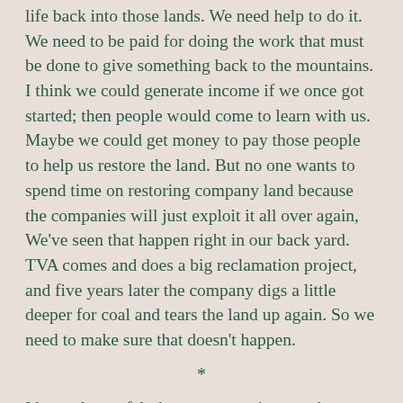life back into those lands. We need help to do it. We need to be paid for doing the work that must be done to give something back to the mountains. I think we could generate income if we once got started; then people would come to learn with us. Maybe we could get money to pay those people to help us restore the land. But no one wants to spend time on restoring company land because the companies will just exploit it all over again, We've seen that happen right in our back yard. TVA comes and does a big reclamation project, and five years later the company digs a little deeper for coal and tears the land up again. So we need to make sure that doesn't happen.
*
I have always felt that a community was there to take care of its needs, and then the surplus would be shared